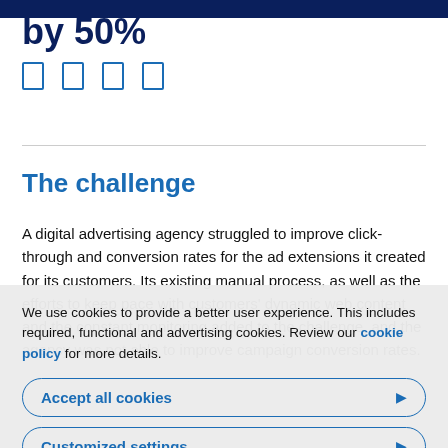by 50%
[Figure (other): Four social media share/action icons displayed in a row (bookmark/share icons in blue outline style)]
The challenge
A digital advertising agency struggled to improve click-through and conversion rates for the ad extensions it created for its customers. Its existing manual process, as well as the efforts to keep pace with customers' dynamic web content and the constant monitoring added to the challenge, and the agency was not able to improve campaign conversion rates.
We use cookies to provide a better user experience. This includes required, functional and advertising cookies. Review our cookie policy for more details.
Accept all cookies
Customized settings